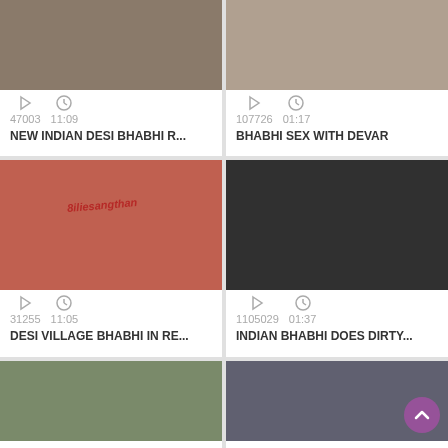[Figure (screenshot): Video thumbnail top-left, close-up scene]
47003  11:09
NEW INDIAN DESI BHABHI R...
[Figure (screenshot): Video thumbnail top-right, face visible]
107726  01:17
BHABHI SEX WITH DEVAR
[Figure (screenshot): Video thumbnail mid-left with watermark 8iliesangthan]
31255  11:05
DESI VILLAGE BHABHI IN RE...
[Figure (screenshot): Video thumbnail mid-right, dark background with figure]
1105029  01:37
INDIAN BHABHI DOES DIRTY...
[Figure (screenshot): Video thumbnail bottom-left, outdoor thatched hut scene]
[Figure (screenshot): Video thumbnail bottom-right, dark outdoor scene with back-to-top button]